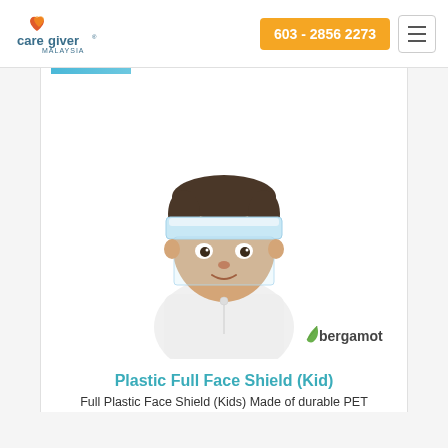Caregiver Malaysia | 603 - 2856 2273
[Figure (photo): Child wearing a transparent plastic full face shield with a blue and white headband, dressed in a white shirt, looking at the camera. Bergamot brand logo visible in bottom right corner of the image.]
Plastic Full Face Shield (Kid)
Full Plastic Face Shield (Kids)– Made of durable PET–